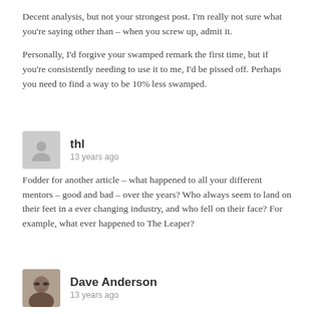Decent analysis, but not your strongest post. I'm really not sure what you're saying other than – when you screw up, admit it.
Personally, I'd forgive your swamped remark the first time, but if you're consistently needing to use it to me, I'd be pissed off. Perhaps you need to find a way to be 10% less swamped.
thl
13 years ago
Fodder for another article – what happened to all your different mentors – good and bad – over the years? Who always seem to land on their feet in a ever changing industry, and who fell on their face? For example, what ever happened to The Leaper?
Dave Anderson
13 years ago
Another fine post that, as often, shines a light on something you know when you read it to be quite tangible but couldn't have put into words yourself.